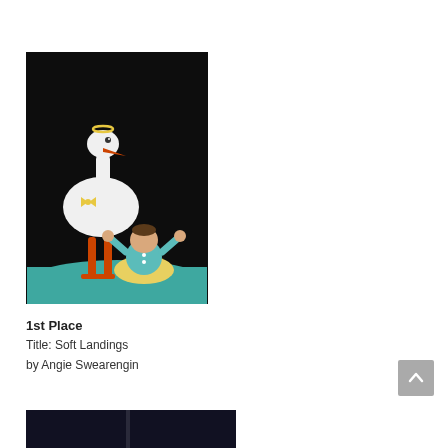[Figure (photo): A decorative cake sculpture depicting a stork standing next to a baby sitting on a pillow, set against a black background with teal fabric beneath. The stork is white with orange legs and a yellow bow, the baby wears a teal outfit.]
1st Place
Title: Soft Landings
by Angie Swearengin
[Figure (photo): Partial view of a second photo at the bottom of the page, showing dark background.]